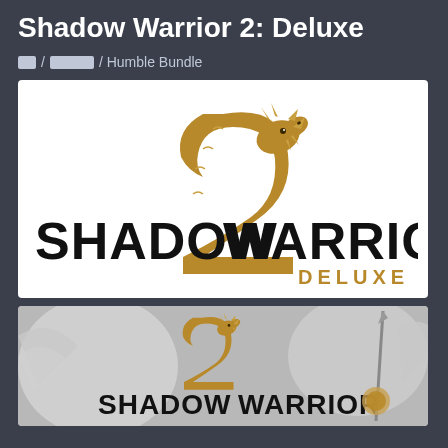Shadow Warrior 2: Deluxe
게임 / 액션게임 / Humble Bundle
[Figure (logo): Shadow Warrior 2 Deluxe logo on white background — golden dragon coiled around a large '2', with bold black text 'SHADOW WARRIOR' and golden 'DELUXE' subtitle]
[Figure (screenshot): Shadow Warrior 2 game screenshot/banner on grey background showing golden dragon and '2' logo with 'SHADOW WARRIOR' text, warrior figure with spear on the right]